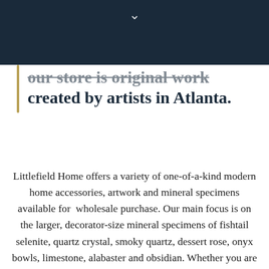↓
our store is original work created by artists in Atlanta.
Littlefield Home offers a variety of one-of-a-kind modern home accessories, artwork and mineral specimens available for  wholesale purchase. Our main focus is on the larger, decorator-size mineral specimens of fishtail selenite, quartz crystal, smoky quartz, dessert rose, onyx bowls, limestone, alabaster and obsidian. Whether you are searching for an amazing centerpiece for a dining table or the focal point of a living room, we always have a fresh